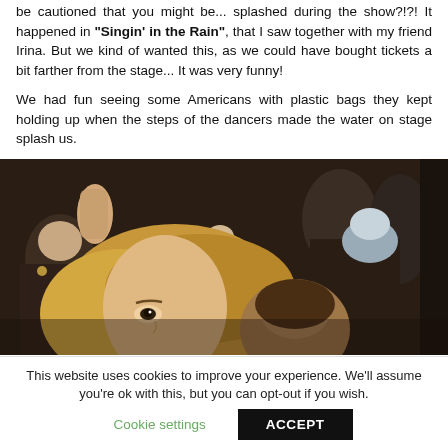be cautioned that you might be... splashed during the show?!?! It happened in "Singin' in the Rain", that I saw together with my friend Irina. But we kind of wanted this, as we could have bought tickets a bit farther from the stage... It was very funny!
We had fun seeing some Americans with plastic bags they kept holding up when the steps of the dancers made the water on stage splash us.
[Figure (photo): Audience members at a theater performance, close-up view showing several people including a woman with blonde hair in the foreground, others in the background wearing various clothing.]
This website uses cookies to improve your experience. We'll assume you're ok with this, but you can opt-out if you wish. Cookie settings | ACCEPT